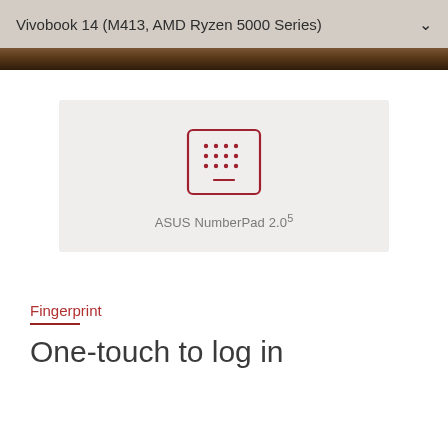Vivobook 14 (M413, AMD Ryzen 5000 Series)
[Figure (illustration): ASUS NumberPad 2.0 icon — a square with rounded corners outlined in red/dark-red, containing a 4x3 grid of small dots and a short horizontal line near the bottom center, rendered in red/dark-red color.]
ASUS NumberPad 2.05
Fingerprint
One-touch to log in